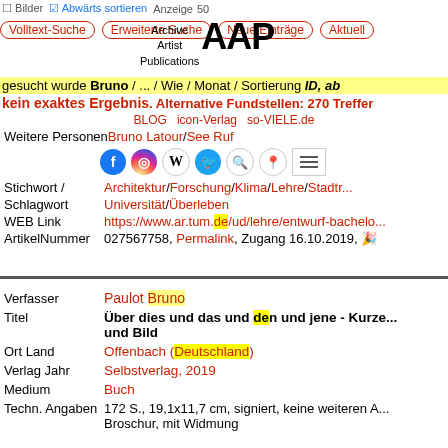[Figure (screenshot): AAP Archive Artist Publications logo with small text 'Archive Artist Publications' and large bold letters AAP]
Volltext-Suche | Erweiterte Suche | Neue Einträge | Aktuell
Gesucht wurde Bruno ... Sortierung ID, ab
kein exaktes Ergebnis. Alternative Fundstellen: 270 Treffer
BLOG icon-Verlag so-VIELE.de
Weitere Personen Bruno Latour / See Ruf
Social media icons: Facebook, Instagram, Wikipedia, Twitter, Search, Maps, Menu
Stichwort / Architektur / Forschung / Klima / Lehre / Stadtr...
Schlagwort Universität / Überleben
WEB Link https://www.ar.tum.de/ud/lehre/entwurf-bachelo...
ArtikelNummer 027567758, Permalink, Zugang 16.10.2019, 🎉
Verfasser Paulot Bruno
Titel Über dies und das und den und jene - Kurze... und Bild
Ort Land Offenbach (Deutschland)
Verlag Jahr Selbstverlag, 2019
Medium Buch
Techn. Angaben 172 S., 19,1x11,7 cm, signiert, keine weiteren A... Broschur, mit Widmung